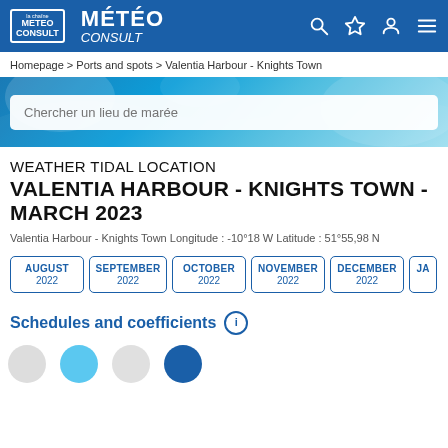METEO CONSULT
Homepage > Ports and spots > Valentia Harbour - Knights Town
[Figure (screenshot): Hero banner with ocean/wave background image and a search input field with placeholder text 'Chercher un lieu de marée']
WEATHER TIDAL LOCATION VALENTIA HARBOUR - KNIGHTS TOWN - MARCH 2023
Valentia Harbour - Knights Town Longitude : -10°18 W Latitude : 51°55,98 N
AUGUST 2022
SEPTEMBER 2022
OCTOBER 2022
NOVEMBER 2022
DECEMBER 2022
JA...
Schedules and coefficients